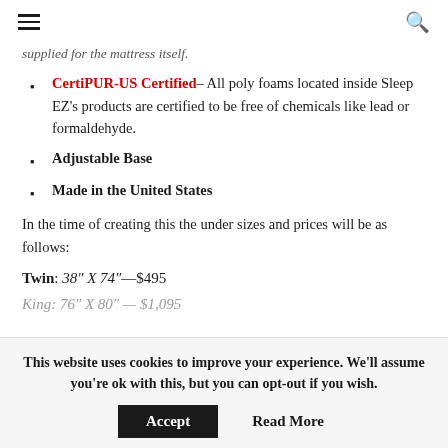≡  🔍
supplied for the mattress itself.
CertiPUR-US Certified– All poly foams located inside Sleep EZ's products are certified to be free of chemicals like lead or formaldehyde.
Adjustable Base
Made in the United States
In the time of creating this the under sizes and prices will be as follows:
Twin: 38″ X 74″—$495
King: 76″ X 80″—$1,095
This website uses cookies to improve your experience. We'll assume you're ok with this, but you can opt-out if you wish.